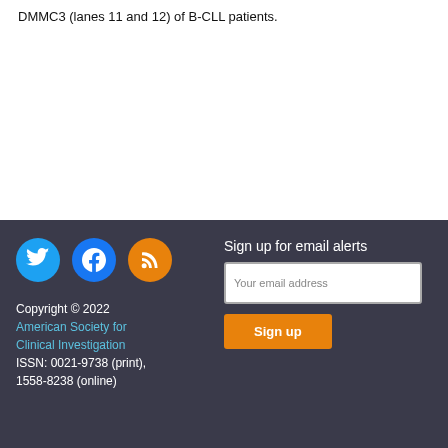DMMC3 (lanes 11 and 12) of B-CLL patients.
Sign up for email alerts
Your email address
Sign up
Copyright © 2022
American Society for Clinical Investigation
ISSN: 0021-9738 (print), 1558-8238 (online)